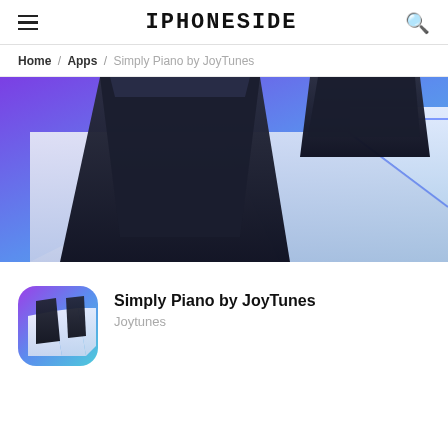IPHONESIDE
Home / Apps / Simply Piano by JoyTunes
[Figure (photo): Close-up of piano keys with black and white keys on a purple-to-blue gradient background, 3D rendered style]
[Figure (illustration): Simply Piano by JoyTunes app icon showing a 3D piano keyboard on a purple-to-blue gradient background with rounded corners]
Simply Piano by JoyTunes
Joytunes